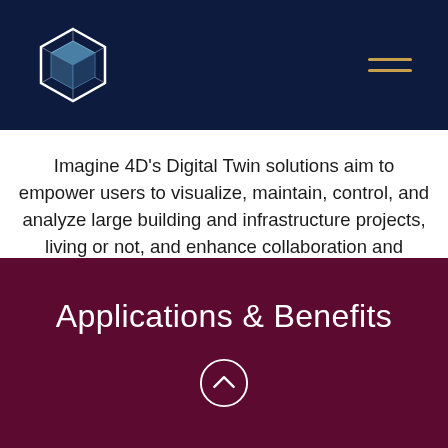Imagine 4D logo and navigation
Imagine 4D's Digital Twin solutions aim to empower users to visualize, maintain, control, and analyze large building and infrastructure projects, living or not, and enhance collaboration and innovation within the AEC market.
Applications & Benefits